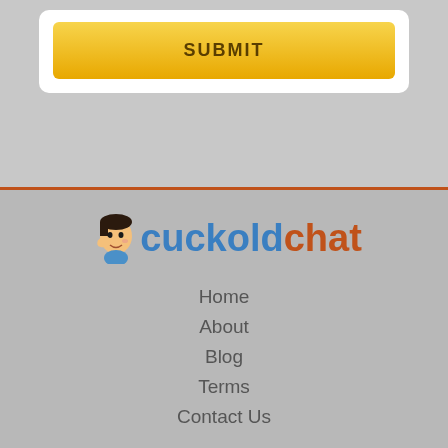SUBMIT
[Figure (logo): Cuckold Chat logo with cartoon face icon, blue 'cuckold' and orange 'chat' text]
Home
About
Blog
Terms
Contact Us
Domina Cams And Mistresses